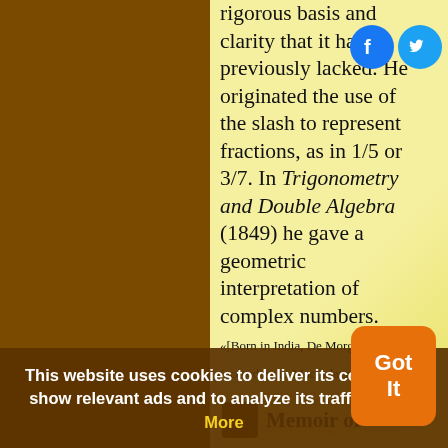rigorous basis and clarity that it had previously lacked. He originated the use of the slash to represent fractions, as in 1/5 or 3/7. In Trigonometry and Double Algebra (1849) he gave a geometric interpretation of complex numbers. «[Born in India, De Morgan (according to Macfarlane) De Morgan considered himself to be British, without being specifically English, Scottish, Welsh or Irish.]
Memoir of
This website uses cookies to deliver its content, to show relevant ads and to analyze its traffic. Learn More